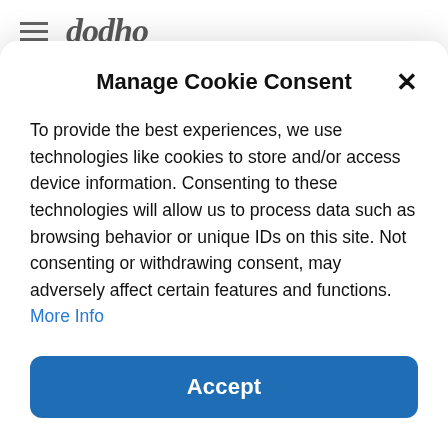dodho
xpressive tool and medium to investigate emotional dynamics. When making a portrait, you are looking at...
[Figure (other): Light purple/grey placeholder image block]
Manage Cookie Consent
To provide the best experiences, we use technologies like cookies to store and/or access device information. Consenting to these technologies will allow us to process data such as browsing behavior or unique IDs on this site. Not consenting or withdrawing consent, may adversely affect certain features and functions. More Info
Accept